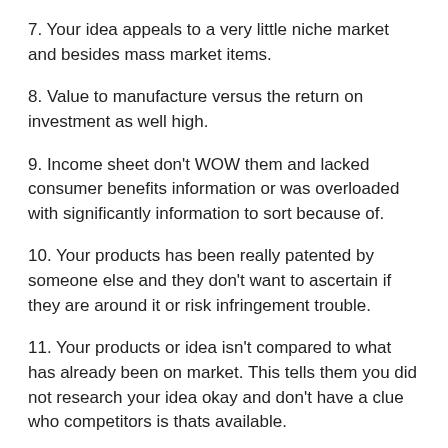7. Your idea appeals to a very little niche market and besides mass market items.
8. Value to manufacture versus the return on investment as well high.
9. Income sheet don't WOW them and lacked consumer benefits information or was overloaded with significantly information to sort because of.
10. Your products has been really patented by someone else and they don't want to ascertain if they are around it or risk infringement trouble.
11. Your products or idea isn't compared to what has already been on market. This tells them you did not research your idea okay and don't have a clue who competitors is thats available.